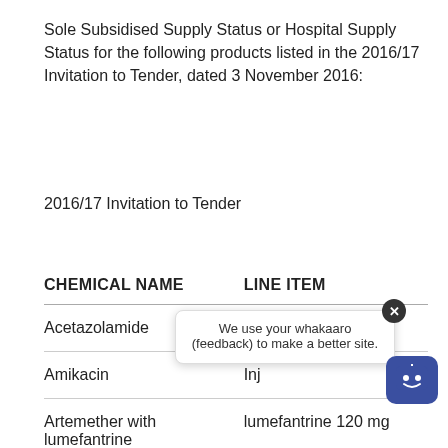Sole Subsidised Supply Status or Hospital Supply Status for the following products listed in the 2016/17 Invitation to Tender, dated 3 November 2016:
2016/17 Invitation to Tender
| CHEMICAL NAME | LINE ITEM |
| --- | --- |
| Acetazolamide | Inj 500 mg |
| Amikacin | Inj |
| Artemether with lumefantrine | lumefantrine 120 mg |